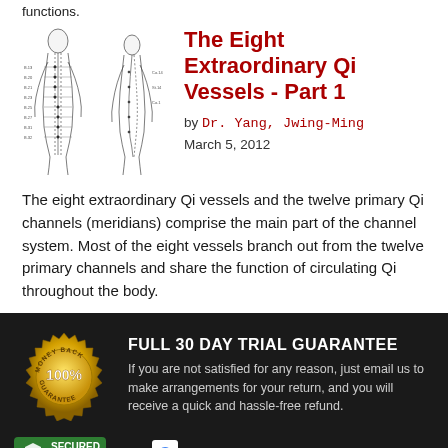functions.
[Figure (illustration): Acupuncture meridian diagram showing human body outlines with channel lines and points marked]
The Eight Extraordinary Qi Vessels - Part 1
by Dr. Yang, Jwing-Ming
March 5, 2012
The eight extraordinary Qi vessels and the twelve primary Qi channels (meridians) comprise the main part of the channel system. Most of the eight vessels branch out from the twelve primary channels and share the function of circulating Qi throughout the body.
FULL 30 DAY TRIAL GUARANTEE
[Figure (illustration): Gold money back 100% guarantee seal/badge]
If you are not satisfied for any reason, just email us to make arrangements for your return, and you will receive a quick and hassle-free refund.
[Figure (logo): Secured By logo with green shield icon]
[Figure (logo): Google Safe Browsing logo with G icon]